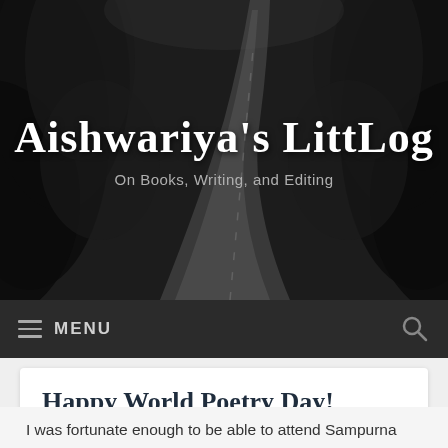[Figure (photo): Dark monochrome header banner with a winding road through trees, showing the blog title 'Aishwariya's LittLog' in cursive white font and subtitle 'On Books, Writing, and Editing' in grey.]
Aishwariya's LittLog
On Books, Writing, and Editing
≡ MENU
Happy World Poetry Day!
I was fortunate enough to be able to attend Sampurna Chattarji's poetry workshop conducted by Blogchatter on World Poetry Day.
Sampurna stressed on the importance of learning